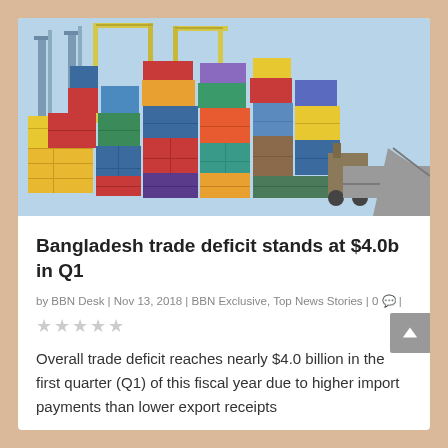[Figure (photo): Aerial view of a busy container port with stacked colorful shipping containers (blue, red, yellow, orange, green) and cranes in the background]
Bangladesh trade deficit stands at $4.0b in Q1
by BBN Desk | Nov 13, 2018 | BBN Exclusive, Top News Stories | 0 💬 |
★★★★★
Overall trade deficit reaches nearly $4.0 billion in the first quarter (Q1) of this fiscal year due to higher import payments than lower export receipts
READ MORE